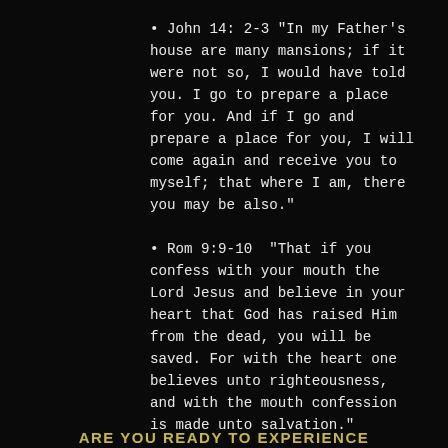• John 14: 2-3 "In my Father's house are many mansions; if it were not so, I would have told you. I go to prepare a place for you. And if I go and prepare a place for you, I will come again and receive you to myself; that where I am, there you may be also."
• Rom 9:9-10  "That if you confess with your mouth the Lord Jesus and believe in your heart that God has raised Him from the dead, you will be saved. For with the heart one believes unto righteousness, and with the mouth confession is made unto salvation."
ARE YOU READY TO EXPERIENCE